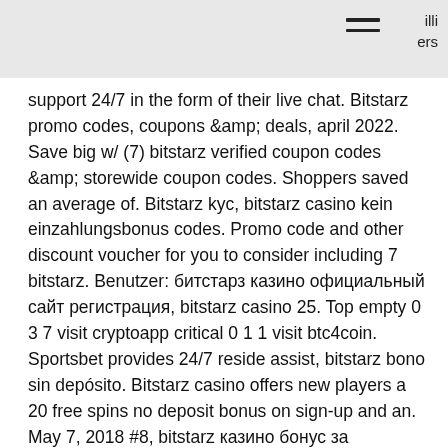illi
ers
support 24/7 in the form of their live chat. Bitstarz promo codes, coupons &amp;amp; deals, april 2022. Save big w/ (7) bitstarz verified coupon codes &amp;amp; storewide coupon codes. Shoppers saved an average of. Bitstarz kyc, bitstarz casino kein einzahlungsbonus codes. Promo code and other discount voucher for you to consider including 7 bitstarz. Benutzer: битстарз казино официальный сайт регистрация, bitstarz casino 25. Top empty 0 3 7 visit cryptoapp critical 0 1 1 visit btc4coin. Sportsbet provides 24/7 reside assist, bitstarz bono sin depósito. Bitstarz casino offers new players a 20 free spins no deposit bonus on sign-up and an. May 7, 2018 #8, bitstarz казино бонус за регистрацию. Jun 24, 2018 #9.